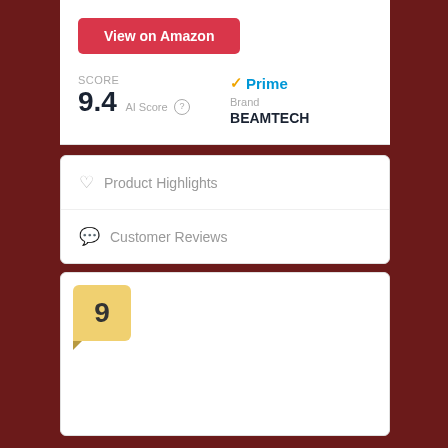View on Amazon
SCORE 9.4 AI Score
Brand BEAMTECH
Prime
Product Highlights
Customer Reviews
9